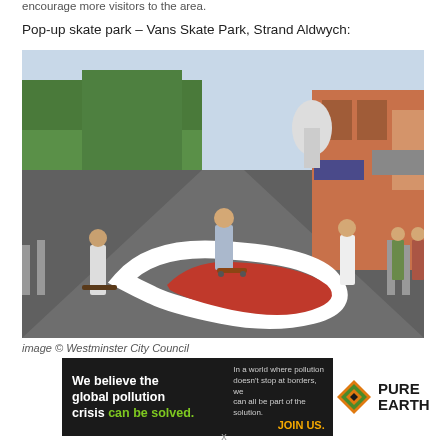encourage more visitors to the area.
Pop-up skate park – Vans Skate Park, Strand Aldwych:
[Figure (photo): Outdoor pop-up skate park on Strand Aldwych street in London. Multiple skaters skating on a road painted with a red-and-white curved Nike swoosh design. Trees line the left side, and brick buildings including a church dome are visible in the background. Metal crowd barriers line the sides.]
image © Westminster City Council
[Figure (other): Pure Earth charity advertisement banner. Left dark panel reads: 'We believe the global pollution crisis can be solved.' with 'can be solved.' in green. Right dark panel reads: 'In a world where pollution doesn't stop at borders, we can all be part of the solution. JOIN US.' JOIN US in orange. Right white panel shows Pure Earth logo with orange/green diamond icon.]